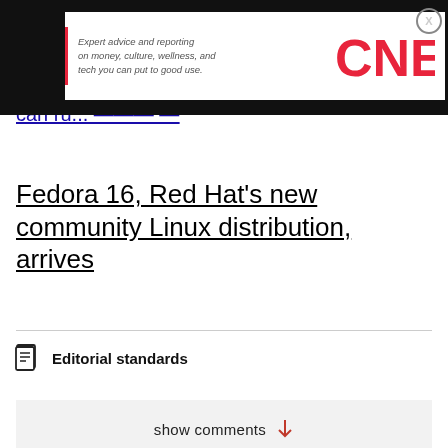[Figure (logo): CNET advertisement banner with tagline 'Expert advice and reporting on money, culture, wellness, and tech you can put to good use.' and red CNET logo]
can ru... [partial link text]
Fedora 16, Red Hat's new community Linux distribution, arrives
Editorial standards
show comments